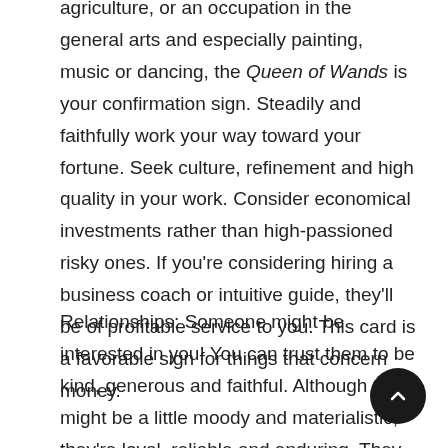agriculture, or an occupation in the general arts and especially painting, music or dancing, the Queen of Wands is your confirmation sign. Steadily and faithfully work your way toward your fortune. Seek culture, refinement and high quality in your work. Consider economical investments rather than high-passioned risky ones. If you're considering hiring a business coach or intuitive guide, they'll be of profitable service to you. This card is a favorable sign for things that concern money.
Relationships: Someone might be interested in you! You can trust them to be kind, generous and faithful. Although they might be a little moody and materialistic, they're loyal, reliable and enduring. They don't get easily